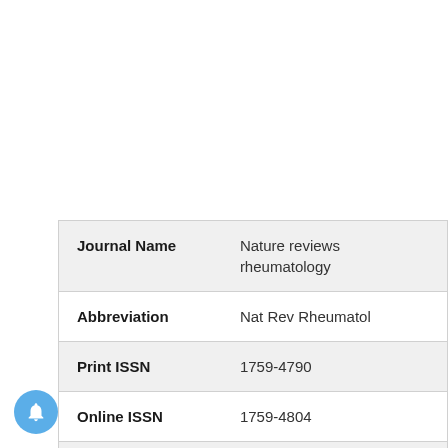| Field | Value |
| --- | --- |
| Journal Name | Nature reviews rheumatology |
| Abbreviation | Nat Rev Rheumatol |
| Print ISSN | 1759-4790 |
| Online ISSN | 1759-4804 |
| Nature reviews rheumatology Details | Nature reviews rheumatology Details |